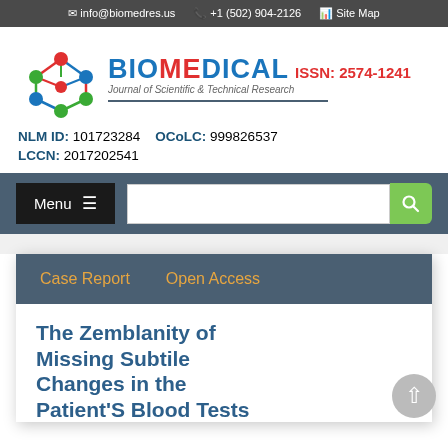info@biomedres.us  +1 (502) 904-2126  Site Map
[Figure (logo): Biomedical Journal of Scientific & Technical Research logo with molecule graphic, ISSN: 2574-1241]
NLM ID: 101723284   OCoLC: 999826537
LCCN: 2017202541
Menu  [search bar]
Case Report   Open Access
The Zemblanity of Missing Subtile Changes in the Patient'S Blood Tests